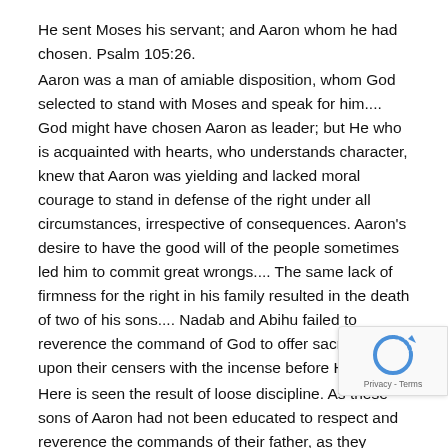He sent Moses his servant; and Aaron whom he had chosen. Psalm 105:26.
Aaron was a man of amiable disposition, whom God selected to stand with Moses and speak for him.... God might have chosen Aaron as leader; but He who is acquainted with hearts, who understands character, knew that Aaron was yielding and lacked moral courage to stand in defense of the right under all circumstances, irrespective of consequences. Aaron's desire to have the good will of the people sometimes led him to commit great wrongs.... The same lack of firmness for the right in his family resulted in the death of two of his sons.... Nadab and Abihu failed to reverence the command of God to offer sacred fire upon their censers with the incense before Him....
Here is seen the result of loose discipline. As these sons of Aaron had not been educated to respect and reverence the commands of their father, as they disregarded parental authority, they did not realize the